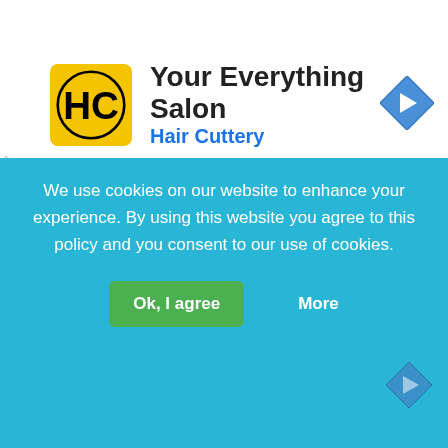[Figure (screenshot): Hair Cuttery advertisement banner with yellow logo, title 'Your Everything Salon', subtitle 'Hair Cuttery', and blue navigation arrow icon on the right]
straight to your inbox!
[Figure (screenshot): Web form on red background with Name and E-mail input fields and a blue Join button]
We use cookies on our website to enhance your experience. By using this website you agree to this policy and you consent to our use of cookies.
Ok, I agree
More